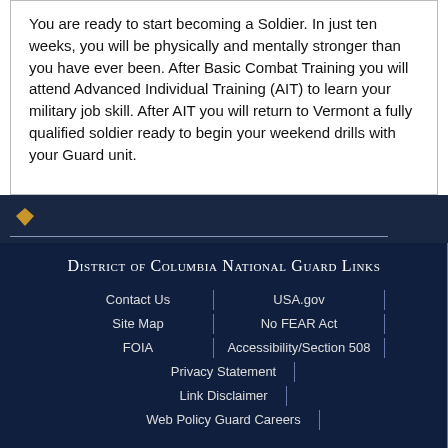You are ready to start becoming a Soldier. In just ten weeks, you will be physically and mentally stronger than you have ever been. After Basic Combat Training you will attend Advanced Individual Training (AIT) to learn your military job skill. After AIT you will return to Vermont a fully qualified soldier ready to begin your weekend drills with your Guard unit.
[Figure (logo): Small yellow/gold diamond-shaped icon on dark navy bar]
District of Columbia National Guard Links
Contact Us
USA.gov
Site Map
No FEAR Act
FOIA
Accessibility/Section 508
Privacy Statement
Link Disclaimer
Web Policy  Guard Careers